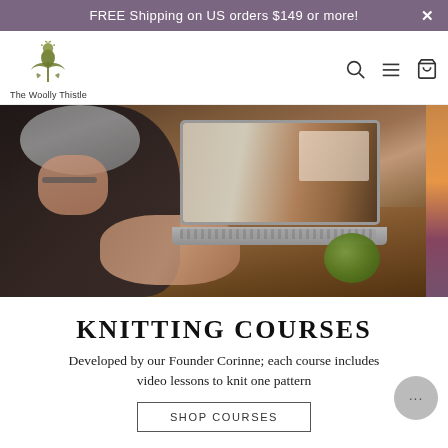FREE Shipping on US orders $149 or more!
[Figure (logo): The Woolly Thistle logo — stylized thistle plant in olive green with text below]
[Figure (photo): Person knitting at a wooden desk with a MacBook laptop open showing a knitting pattern, green yarn ball visible]
KNITTING COURSES
Developed by our Founder Corinne; each course includes video lessons to knit one pattern
SHOP COURSES